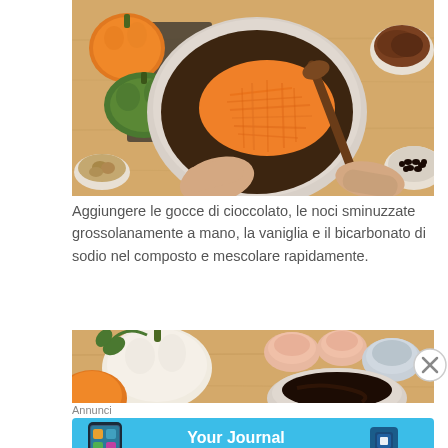[Figure (photo): Top-down view of a mixing bowl with grated orange pumpkin/squash and dark batter being stirred with a wooden spoon, surrounded by pumpkins, walnuts, chocolate chips, and cocoa powder on a wooden surface]
Aggiungere le gocce di cioccolato, le noci sminuzzate grossolanamente a mano, la vaniglia e il bicarbonato di sodio nel composto e mescolare rapidamente.
[Figure (photo): Top-down view of a wooden surface with pumpkins, small bowls with ingredients including chocolate and eggs]
Annunci
[Figure (other): Advertisement banner: Your Journal for life - Day One app]